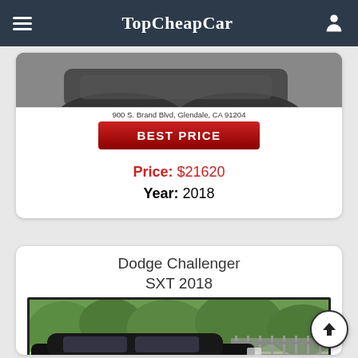TopCheapCar
[Figure (screenshot): Partial car listing card showing car image, address '900 S. Brand Blvd, Glendale, CA 91204', BEST PRICE button, Price: $21620, Year: 2018]
Price: $21620
Year: 2018
Dodge Challenger SXT 2018
[Figure (photo): Photo of a black Dodge Challenger SXT 2018 parked in front of trees and a fence]